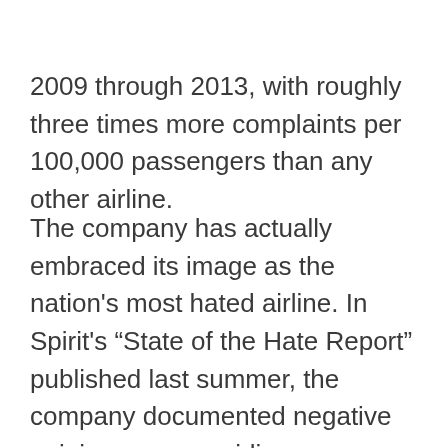2009 through 2013, with roughly three times more complaints per 100,000 passengers than any other airline.
The company has actually embraced its image as the nation's most hated airline. In Spirit's “State of the Hate Report” published last summer, the company documented negative opinions among airline customers. Spirit seems to have tapped into a market of consumers who choose low price at the